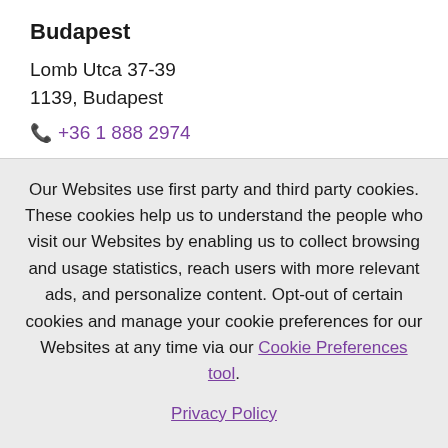Budapest
Lomb Utca 37-39
1139, Budapest
+36 1 888 2974
Our Websites use first party and third party cookies. These cookies help us to understand the people who visit our Websites by enabling us to collect browsing and usage statistics, reach users with more relevant ads, and personalize content. Opt-out of certain cookies and manage your cookie preferences for our Websites at any time via our Cookie Preferences tool.
Privacy Policy
OK